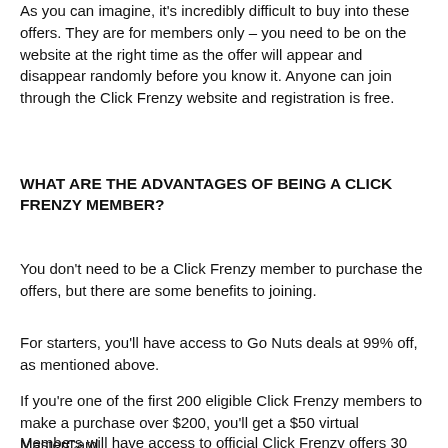As you can imagine, it's incredibly difficult to buy into these offers. They are for members only – you need to be on the website at the right time as the offer will appear and disappear randomly before you know it. Anyone can join through the Click Frenzy website and registration is free.
WHAT ARE THE ADVANTAGES OF BEING A CLICK FRENZY MEMBER?
You don't need to be a Click Frenzy member to purchase the offers, but there are some benefits to joining.
For starters, you'll have access to Go Nuts deals at 99% off, as mentioned above.
If you're one of the first 200 eligible Click Frenzy members to make a purchase over $200, you'll get a $50 virtual MasterCard.
Members will have access to official Click Frenzy offers 30 minutes